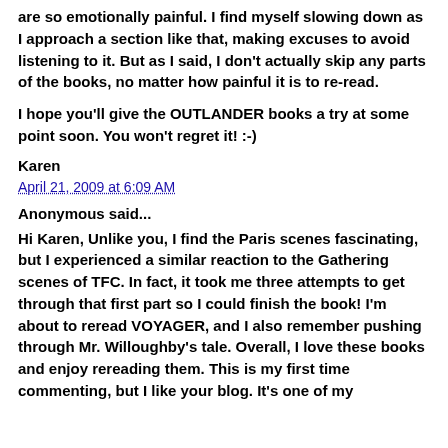are so emotionally painful. I find myself slowing down as I approach a section like that, making excuses to avoid listening to it. But as I said, I don't actually skip any parts of the books, no matter how painful it is to re-read.
I hope you'll give the OUTLANDER books a try at some point soon. You won't regret it! :-)
Karen
April 21, 2009 at 6:09 AM
Anonymous said...
Hi Karen, Unlike you, I find the Paris scenes fascinating, but I experienced a similar reaction to the Gathering scenes of TFC. In fact, it took me three attempts to get through that first part so I could finish the book! I'm about to reread VOYAGER, and I also remember pushing through Mr. Willoughby's tale. Overall, I love these books and enjoy rereading them. This is my first time commenting, but I like your blog. It's one of my